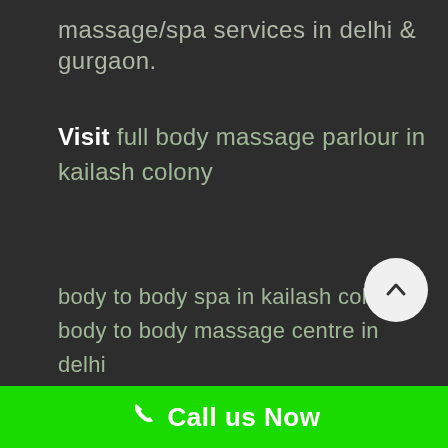massage/spa services in delhi & gurgaon.
Visit full body massage parlour in kailash colony
body to body spa in kailash colony
body to body massage centre in delhi
body massage service in delhi
spa centre in delhi
massage centre in kailash colony
best body to body massage in kailash colony
Call us Now